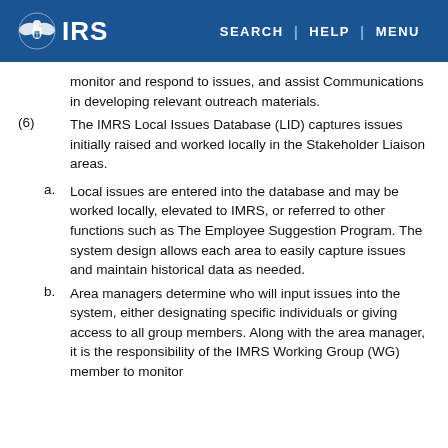IRS | SEARCH | HELP | MENU
monitor and respond to issues, and assist Communications in developing relevant outreach materials.
(6) The IMRS Local Issues Database (LID) captures issues initially raised and worked locally in the Stakeholder Liaison areas.
a. Local issues are entered into the database and may be worked locally, elevated to IMRS, or referred to other functions such as The Employee Suggestion Program. The system design allows each area to easily capture issues and maintain historical data as needed.
b. Area managers determine who will input issues into the system, either designating specific individuals or giving access to all group members. Along with the area manager, it is the responsibility of the IMRS Working Group (WG) member to monitor